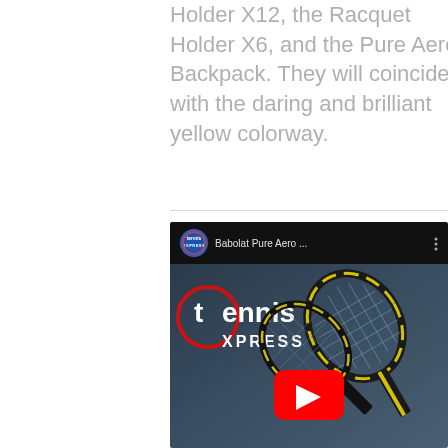Holder X12, the Racquet Holder X6, and the Pure Aero Backpack. They will coincide with the daring and brilliant yellow colorway.
[Figure (screenshot): YouTube video thumbnail showing Tennis Express channel logo and Babolat Pure Aero rackets on a blue-grey background with red play button. Video title shows 'Babolat Pure Aero ...']